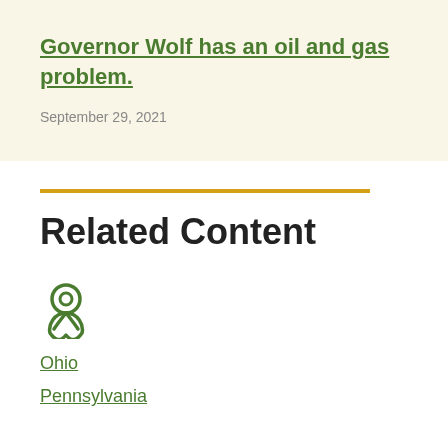Governor Wolf has an oil and gas problem.
September 29, 2021
Related Content
Ohio
Pennsylvania